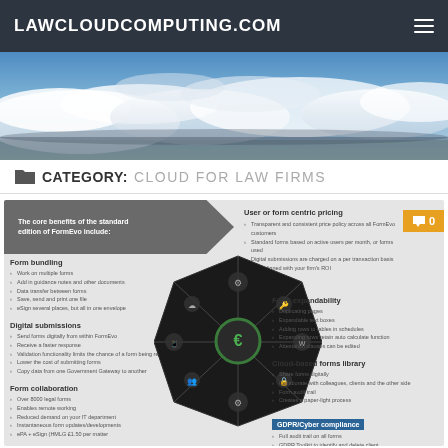LAWCLOUDCOMPUTING.COM
[Figure (photo): Wide panoramic photo of clouds and blue sky]
CATEGORY: CLOUD FOR LAW FIRMS
[Figure (infographic): FormEvo feature infographic with octagonal diagram showing: Form bundling, Digital submissions, Form collaboration, User or form centric pricing, Form expandability, Cloud-based forms library, GDPR/Cyber compliance. Core benefits text panel on left. Comment badge showing 0 on right.]